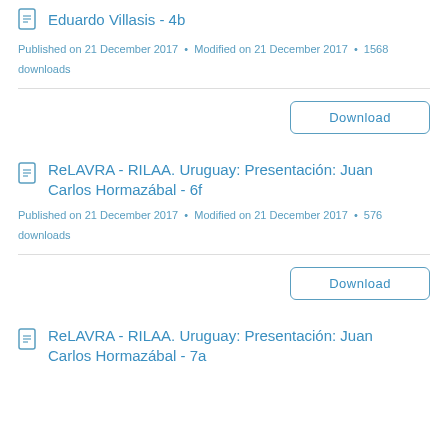Eduardo Villasis - 4b
Published on 21 December 2017 • Modified on 21 December 2017 • 1568 downloads
Download
ReLAVRA - RILAA. Uruguay: Presentación: Juan Carlos Hormazábal - 6f
Published on 21 December 2017 • Modified on 21 December 2017 • 576 downloads
Download
ReLAVRA - RILAA. Uruguay: Presentación: Juan Carlos Hormazábal - 7a